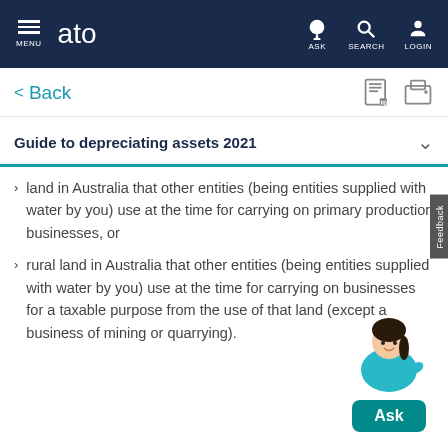MENU | ato | ASK | SEARCH | LOGIN
< Back
Guide to depreciating assets 2021
land in Australia that other entities (being entities supplied with water by you) use at the time for carrying on primary production businesses, or
rural land in Australia that other entities (being entities supplied with water by you) use at the time for carrying on businesses for a taxable purpose from the use of that land (except a business of mining or quarrying).